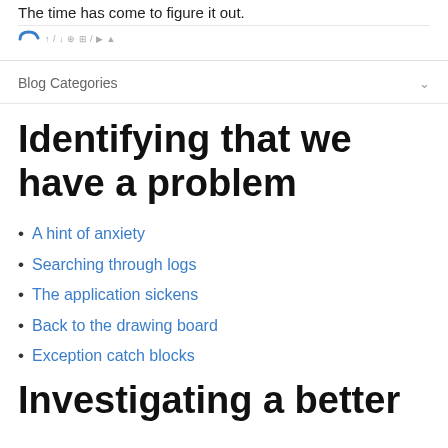The time has come to figure it out.
Blog Categories
Identifying that we have a problem
A hint of anxiety
Searching through logs
The application sickens
Back to the drawing board
Exception catch blocks
Investigating a better